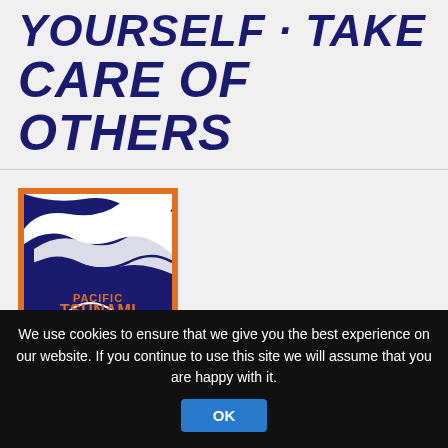CARE OF OTHERS
[Figure (logo): Pacific Tsunami Museum logo — dark blue square with orange border, stylized wave graphic in white and blue, text 'PACIFIC TSUNAMI MUSEUM' in orange, subtitle 'HILO · HAWAII' below]
We use cookies to ensure that we give you the best experience on our website. If you continue to use this site we will assume that you are happy with it.
OK